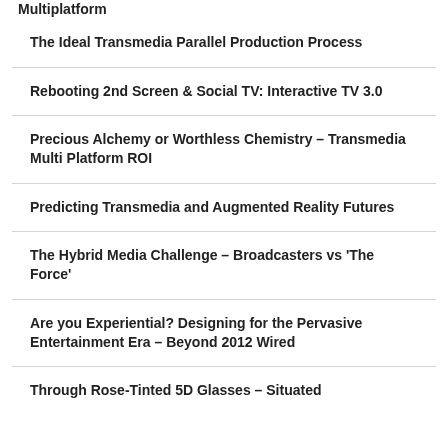Multiplatform
The Ideal Transmedia Parallel Production Process
Rebooting 2nd Screen & Social TV: Interactive TV 3.0
Precious Alchemy or Worthless Chemistry – Transmedia Multi Platform ROI
Predicting Transmedia and Augmented Reality Futures
The Hybrid Media Challenge – Broadcasters vs 'The Force'
Are you Experiential? Designing for the Pervasive Entertainment Era – Beyond 2012 Wired
Through Rose-Tinted 5D Glasses – Situated